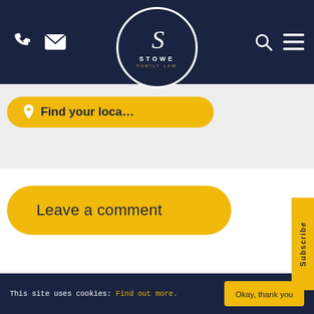[Figure (logo): Stowe Family Law logo — dark navy circle with white S italic letter, STOWE text, and FAMILY LAW subtitle in gold]
Navigation header with phone icon, mail icon, Stowe Family Law logo, search icon, and hamburger menu icon
Find your loca...
Leave a comment
Subscribe
This site uses cookies: Find out more. Okay, thank you